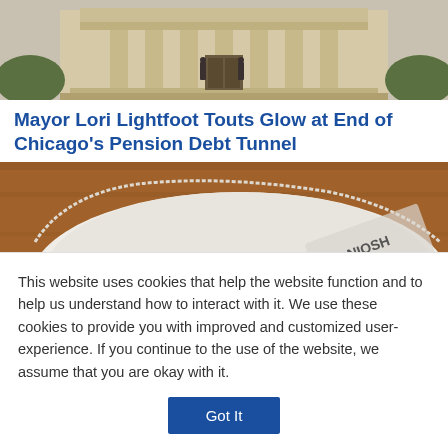[Figure (photo): Exterior photograph of a large classical government or civic building with columns and steps, people standing near the entrance, taken in daylight.]
Mayor Lori Lightfoot Touts Glow at End of Chicago's Pension Debt Tunnel
[Figure (photo): Close-up photograph of a white N95 NIOSH-approved respirator mask lying on a wooden surface.]
This website uses cookies that help the website function and to help us understand how to interact with it. We use these cookies to provide you with improved and customized user-experience. If you continue to the use of the website, we assume that you are okay with it.